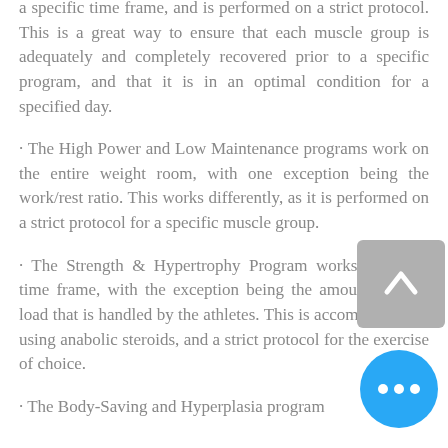a specific time frame, and is performed on a strict protocol. This is a great way to ensure that each muscle group is adequately and completely recovered prior to a specific program, and that it is in an optimal condition for a specified day.
· The High Power and Low Maintenance programs work on the entire weight room, with one exception being the work/rest ratio. This works differently, as it is performed on a strict protocol for a specific muscle group.
· The Strength & Hypertrophy Program works a similar time frame, with the exception being the amount of total load that is handled by the athletes. This is accomplished by using anabolic steroids, and a strict protocol for the exercise of choice.
· The Body-Saving and Hyperplasia program